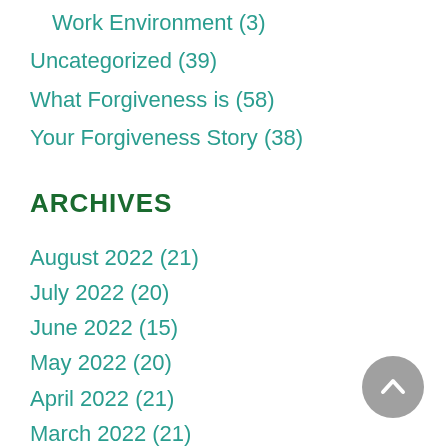Work Environment (3)
Uncategorized (39)
What Forgiveness is (58)
Your Forgiveness Story (38)
ARCHIVES
August 2022 (21)
July 2022 (20)
June 2022 (15)
May 2022 (20)
April 2022 (21)
March 2022 (21)
February 2022 (20)
January 2022 (20)
December 2021 (20)